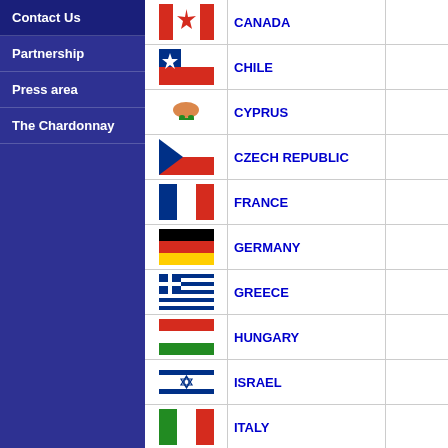Contact Us
Partnership
Press area
The Chardonnay
| Flag | Country |  |
| --- | --- | --- |
| [Canada flag] | CANADA |  |
| [Chile flag] | CHILE |  |
| [Cyprus flag] | CYPRUS |  |
| [Czech Republic flag] | CZECH REPUBLIC |  |
| [France flag] | FRANCE |  |
| [Germany flag] | GERMANY |  |
| [Greece flag] | GREECE |  |
| [Hungary flag] | HUNGARY |  |
| [Israel flag] | ISRAEL |  |
| [Italy flag] | ITALY |  |
| [Japan flag] | JAPAN |  |
| [Lebanon flag] | LEBANON |  |
| [Macedonia flag] | MACEDONIA |  |